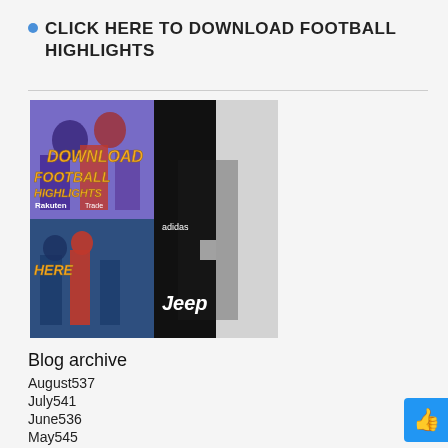CLICK HERE TO DOWNLOAD FOOTBALL HIGHLIGHTS
[Figure (illustration): Composite football/soccer image with four panels showing football players and a Juventus player in Jeep jersey, with overlaid text 'DOWNLOAD FOOTBALL HIGHLIGHTS HERE' in orange/yellow lettering]
Blog archive
August537
July541
June536
May545